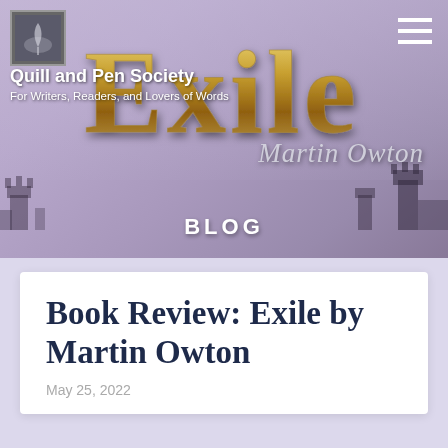[Figure (illustration): Website header banner with fantasy book cover art for 'Exile by Martin Owton' in ornate gothic lettering with castle silhouettes, on a purple-grey sky background. Includes the Quill and Pen Society logo, site name, tagline, hamburger menu, and BLOG label.]
Quill and Pen Society
For Writers, Readers, and Lovers of Words
Book Review: Exile by Martin Owton
May 25, 2022